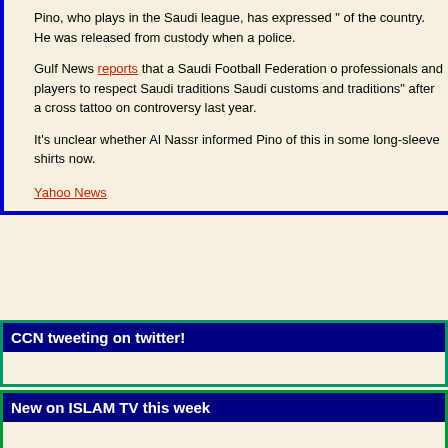Pino, who plays in the Saudi league, has expressed " of the country. He was released from custody when a police.
Gulf News reports that a Saudi Football Federation o professionals and players to respect Saudi traditions Saudi customs and traditions" after a cross tattoo on controversy last year.
It's unclear whether Al Nassr informed Pino of this in some long-sleeve shirts now.
Yahoo News
CCN tweeting on twitter!
New on ISLAM TV this week